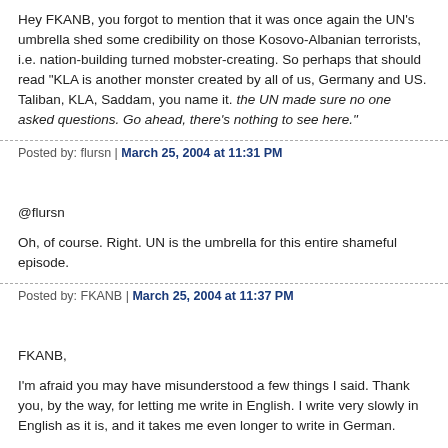Hey FKANB, you forgot to mention that it was once again the UN's umbrella shed some credibility on those Kosovo-Albanian terrorists, i.e. nation-building turned mobster-creating. So perhaps that should read "KLA is another monster created by all of us, Germany and US. Taliban, KLA, Saddam, you name it. the UN made sure no one asked questions. Go ahead, there's nothing to see here."
Posted by: flursn | March 25, 2004 at 11:31 PM
@flursn
Oh, of course. Right. UN is the umbrella for this entire shameful episode.
Posted by: FKANB | March 25, 2004 at 11:37 PM
FKANB,
I'm afraid you may have misunderstood a few things I said. Thank you, by the way, for letting me write in English. I write very slowly in English as it is, and it takes me even longer to write in German.
What Western civilization requires from every government in the world is the following: